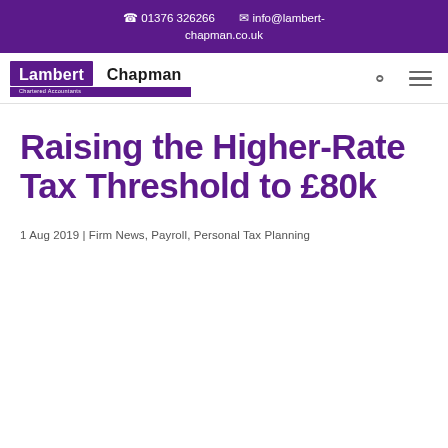01376 326266  info@lambert-chapman.co.uk
[Figure (logo): Lambert Chapman Chartered Accountants logo — purple square with white 'Lambert' text and dark 'Chapman' text below]
Raising the Higher-Rate Tax Threshold to £80k
1 Aug 2019 | Firm News, Payroll, Personal Tax Planning